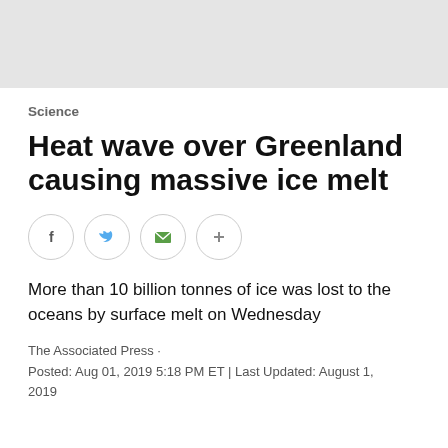Science
Heat wave over Greenland causing massive ice melt
More than 10 billion tonnes of ice was lost to the oceans by surface melt on Wednesday
The Associated Press ·
Posted: Aug 01, 2019 5:18 PM ET | Last Updated: August 1, 2019